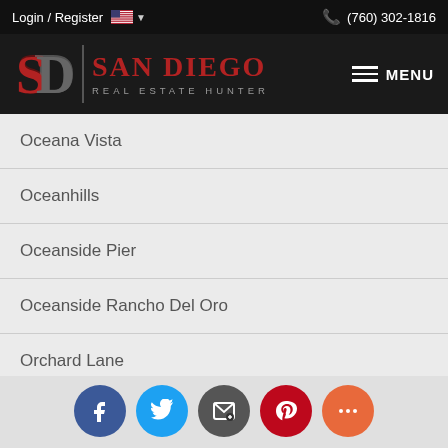Login / Register | (760) 302-1816
[Figure (logo): San Diego Real Estate Hunter logo with SD monogram and red text on black background]
Oceana Vista
Oceanhills
Oceanside Pier
Oceanside Rancho Del Oro
Orchard Lane
Pacific Ridge - Oceanside
Pacifica - Oceanside
[Figure (infographic): Social share buttons: Facebook, Twitter, Email, Pinterest, More (+)]